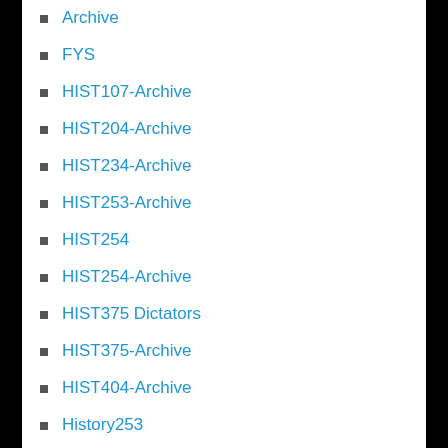Archive
FYS
HIST107-Archive
HIST204-Archive
HIST234-Archive
HIST253-Archive
HIST254
HIST254-Archive
HIST375 Dictators
HIST375-Archive
HIST404-Archive
History253
Uncategorized
ARCHIVES
December 2016
September 2016
May 2016
April 2016
March 2016
February 2016